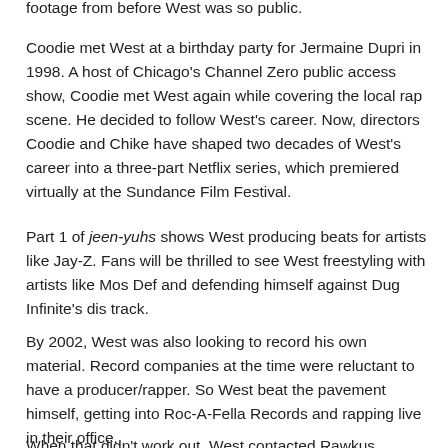footage from before West was so public.
Coodie met West at a birthday party for Jermaine Dupri in 1998. A host of Chicago's Channel Zero public access show, Coodie met West again while covering the local rap scene. He decided to follow West's career. Now, directors Coodie and Chike have shaped two decades of West's career into a three-part Netflix series, which premiered virtually at the Sundance Film Festival.
Part 1 of jeen-yuhs shows West producing beats for artists like Jay-Z. Fans will be thrilled to see West freestyling with artists like Mos Def and defending himself against Dug Infinite's dis track.
By 2002, West was also looking to record his own material. Record companies at the time were reluctant to have a producer/rapper. So West beat the pavement himself, getting into Roc-A-Fella Records and rapping live in their office.
When that didn't work out, West contacted Rawkus Records and